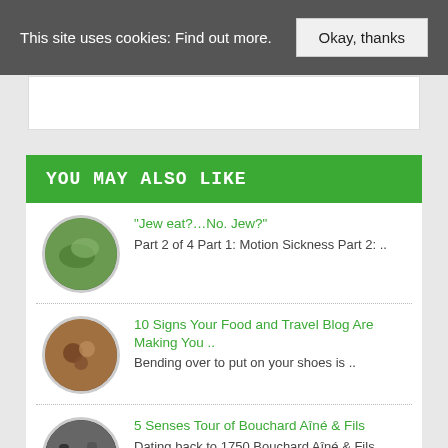This site uses cookies: Find out more.   Okay, thanks
YOU MAY ALSO LIKE
“Jew eat?…No. Jew?” — Part 2 of 4 Part 1: Motion Sickness Part 2: ..
10 Signs Your Food and Travel Blog Are Making You .. — Bending over to put on your shoes is ..
5 Senses Tour of Bouchard Aîné & Fils — Dating back to 1750 Bouchard Aîné & Fils ..
A Beautiful Galapagos Moment — It’s been a year since my parents got ..